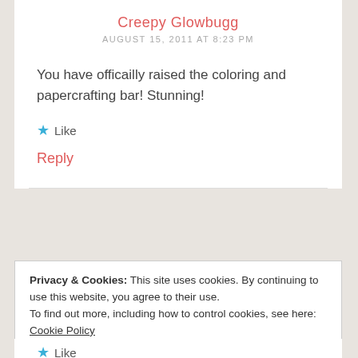Creepy Glowbugg
AUGUST 15, 2011 AT 8:23 PM
You have officailly raised the coloring and papercrafting bar! Stunning!
★ Like
Reply
Privacy & Cookies: This site uses cookies. By continuing to use this website, you agree to their use.
To find out more, including how to control cookies, see here: Cookie Policy
Close and accept
★ Like